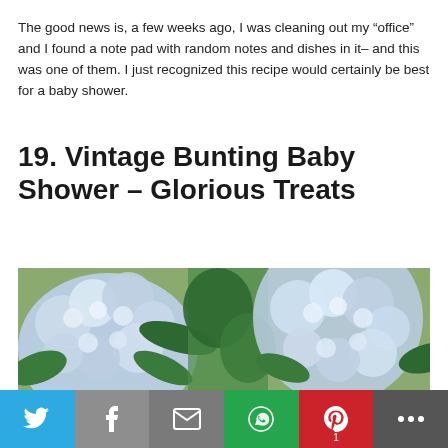The good news is, a few weeks ago, I was cleaning out my “office” and I found a note pad with random notes and dishes in it– and this was one of them. I just recognized this recipe would certainly be best for a baby shower.
19. Vintage Bunting Baby Shower – Glorious Treats
[Figure (photo): Close-up photo of blue and white hydrangea flowers with green leaves in the background]
[Figure (other): Social media sharing bar with Twitter, Facebook, Mail, WhatsApp, Pinterest, and More buttons. Pinterest shows count of 1.]